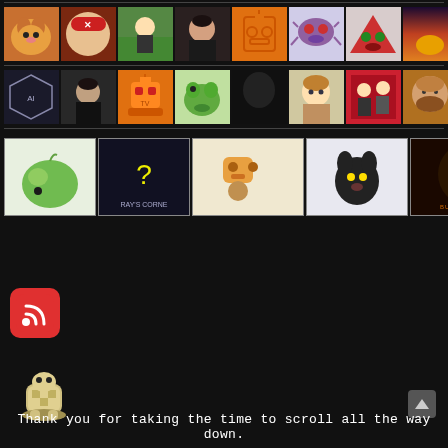[Figure (screenshot): Grid of user avatar thumbnails in three rows on a dark background. Row 1: orange cat, anime figure with hat, person with dog outdoors, woman portrait, orange robot face logo, purple alien creature, red triangle monster, sunset landscape, woman portrait. Row 2: hexagon logo, young man photo, orange robot cartoon, green frog cartoon, black hooded figure, anime girl, action scene, bearded man portrait, hand sketch drawing. Row 3: green apple logo, Ray's Corner dark logo, robot-monkey cartoon logo, black cat cartoon, dark cloaked figure logo.]
[Figure (logo): RSS feed icon - red rounded square with white RSS signal symbol]
[Figure (illustration): Pixel art Pokemon (Sandshrew/Voltorb type) sitting on a surface]
Thank you for taking the time to scroll all the way down.